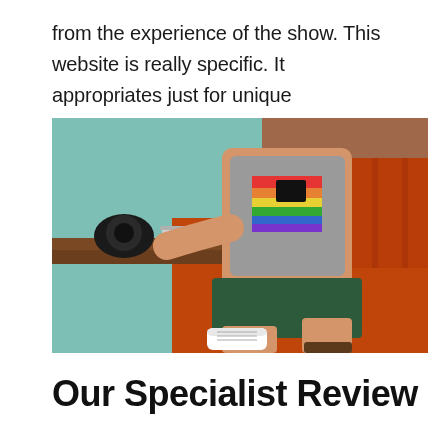from the experience of the show. This website is really specific. It appropriates just for unique connoisseurs.
[Figure (photo): Person wearing a rainbow-striped tank top sitting in an orange leather booth, working on a laptop with a camera on the table]
Our Specialist Review